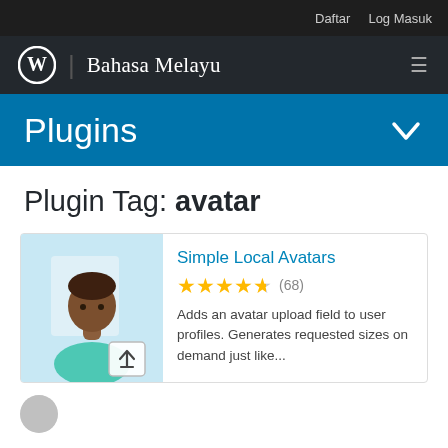Daftar   Log Masuk
Bahasa Melayu
Plugins
Plugin Tag: avatar
[Figure (screenshot): Simple Local Avatars plugin card with avatar icon image showing a person silhouette, 4.5 star rating (68 reviews), and description text]
Simple Local Avatars
(68)
Adds an avatar upload field to user profiles. Generates requested sizes on demand just like...